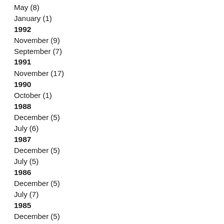May (8)
January (1)
1992
November (9)
September (7)
1991
November (17)
1990
October (1)
1988
December (5)
July (6)
1987
December (5)
July (5)
1986
December (5)
July (7)
1985
December (5)
July (5)
1984
December (5)
July (5)
1983
December (7)
July (4)
1982
December (8)